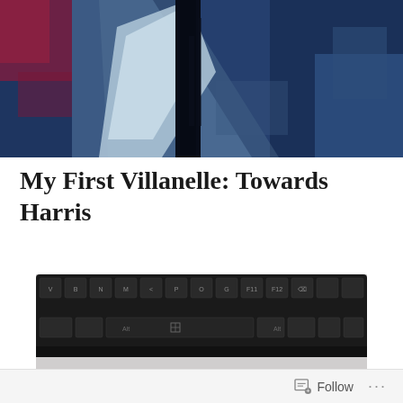[Figure (photo): Abstract painting with dark blue background, featuring a figure in black with a white draped shape, and red/pink elements in the upper left corner.]
My First Villanelle: Towards Harris
[Figure (photo): Close-up photograph of a black computer keyboard on a light gray surface, showing the bottom row of keys including the spacebar area.]
Follow